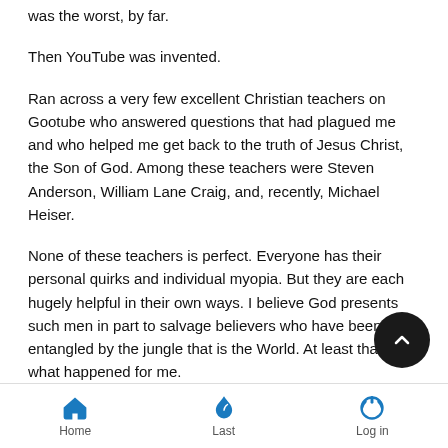was the worst, by far.
Then YouTube was invented.
Ran across a very few excellent Christian teachers on Gootube who answered questions that had plagued me and who helped me get back to the truth of Jesus Christ, the Son of God. Among these teachers were Steven Anderson, William Lane Craig, and, recently, Michael Heiser.
None of these teachers is perfect. Everyone has their personal quirks and individual myopia. But they are each hugely helpful in their own ways. I believe God presents such men in part to salvage believers who have been entangled by the jungle that is the World. At least that's what happened for me.
But I'm still just me. I find church folk to be proudly ignoran lazy – and therefore totally incapable of giving reasons for the
Home   Last   Log in